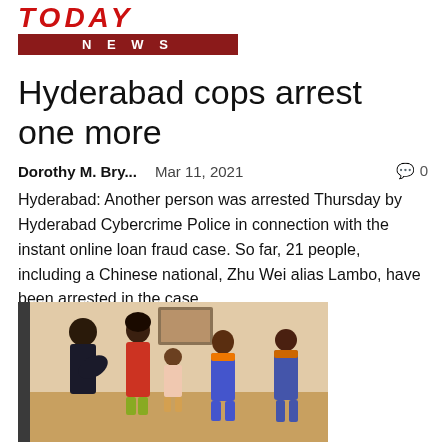TODAY NEWS
Hyderabad cops arrest one more
Dorothy M. Bry...   Mar 11, 2021   0
Hyderabad: Another person was arrested Thursday by Hyderabad Cybercrime Police in connection with the instant online loan fraud case. So far, 21 people, including a Chinese national, Zhu Wei alias Lambo, have been arrested in the case....
[Figure (photo): Group of people including adults and children in an indoor setting, one adult appears to be bending down to interact with children.]